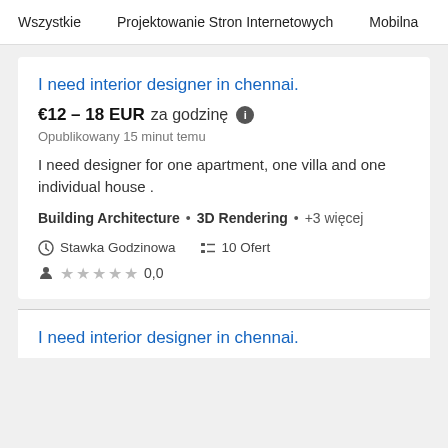Wszystkie   Projektowanie Stron Internetowych   Mobilna   P
I need interior designer in chennai.
€12 – 18 EUR za godzinę
Opublikowany 15 minut temu
I need designer for one apartment, one villa and one individual house .
Building Architecture • 3D Rendering • +3 więcej
Stawka Godzinowa   10 Ofert
0,0
I need interior designer in chennai.